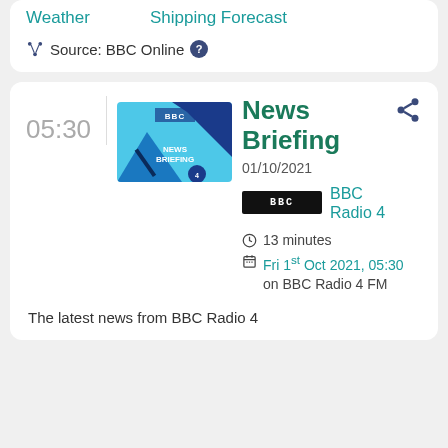Weather
Shipping Forecast
Source: BBC Online ?
05:30
[Figure (illustration): News Briefing BBC Radio 4 programme thumbnail - blue graphic design with News Briefing text and Radio 4 logo]
News Briefing
01/10/2021
[Figure (logo): BBC black logo box with BBC text in white]
BBC Radio 4
13 minutes
Fri 1st Oct 2021, 05:30 on BBC Radio 4 FM
The latest news from BBC Radio 4